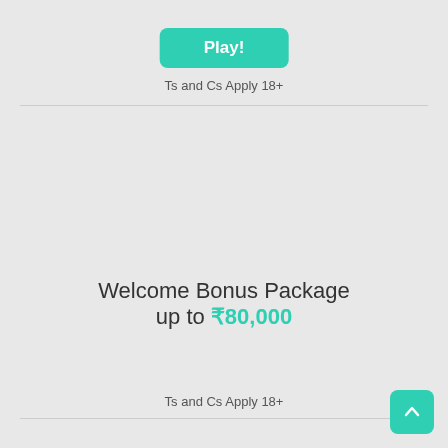[Figure (other): Teal Play! button at top of page]
Ts and Cs Apply 18+
Welcome Bonus Package up to ₹80,000
[Figure (other): Teal Play! button below welcome bonus text]
Ts and Cs Apply 18+
[Figure (other): Teal scroll-to-top button with up arrow in bottom right corner]